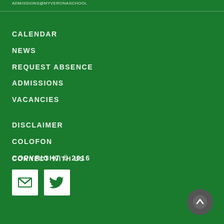ADMISSIONS@MYVERONASCHOOL
CALENDAR
NEWS
REQUEST ABSENCE
ADMISSIONS
VACANCIES
DISCLAIMER
COLOFON
COPYRIGHT © 2016
CONNECT WITH US
[Figure (other): Email icon button (white envelope on white background square) and Twitter icon button (white bird on white background square)]
[Figure (other): Back to top button - dark circle with upward arrow]